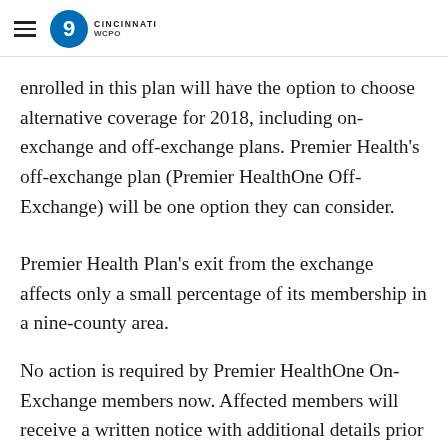WCPO Cincinnati
enrolled in this plan will have the option to choose alternative coverage for 2018, including on-exchange and off-exchange plans. Premier Health's off-exchange plan (Premier HealthOne Off-Exchange) will be one option they can consider.
Premier Health Plan's exit from the exchange affects only a small percentage of its membership in a nine-county area.
No action is required by Premier HealthOne On-Exchange members now. Affected members will receive a written notice with additional details prior to